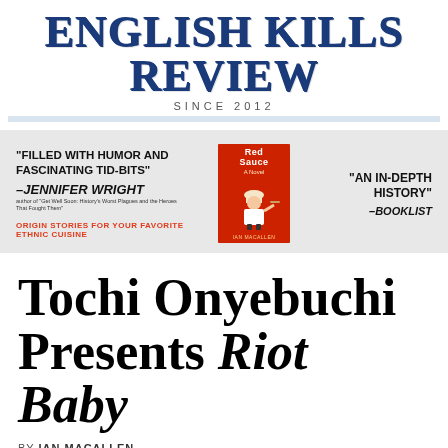ENGLISH KILLS REVIEW
SINCE 2012
[Figure (illustration): Advertisement banner for a book called 'Red Sauce' with quotes 'Filled with humor and fascinating tid-bits' by Jennifer Wright and 'An in-depth history' by Booklist, with a vintage-style illustration of a chef holding a tray, tagline: ORIGIN STORIES FOR YOUR FAVORITE ETHNIC CUISINE]
Tochi Onyebuchi Presents Riot Baby
BY IAN MACALLEN